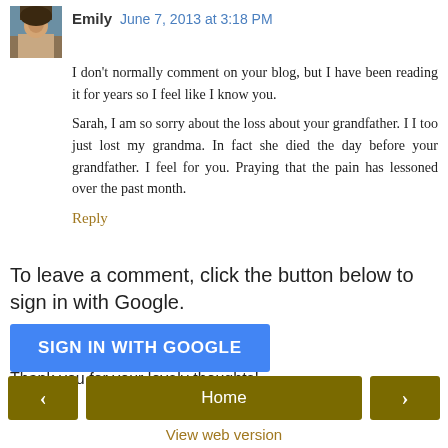[Figure (photo): Small avatar photo of Emily, a woman, shown in top-left of comment]
Emily  June 7, 2013 at 3:18 PM
I don't normally comment on your blog, but I have been reading it for years so I feel like I know you.
Sarah, I am so sorry about the loss about your grandfather. I I too just lost my grandma. In fact she died the day before your grandfather. I feel for you. Praying that the pain has lessoned over the past month.
Reply
To leave a comment, click the button below to sign in with Google.
SIGN IN WITH GOOGLE
Thank you for your lovely thoughts!
< Home >
View web version